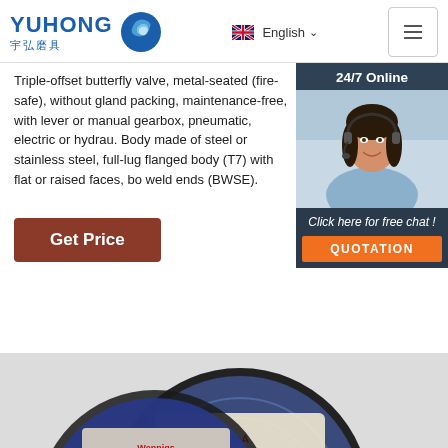YUHONG 宇弘磨具 | English | Menu
Triple-offset butterfly valve, metal-seated (fire-safe), without gland packing, maintenance-free, with lever or manual gearbox, pneumatic, electric or hydraulic actuator. Body made of steel or stainless steel, full-lug and flanged body (T7) with flat or raised faces, butt-weld ends (BWSE).
24/7 Online
[Figure (photo): Customer service representative wearing headset, smiling]
Click here for free chat !
QUOTATION
Get Price
[Figure (photo): Cutting/grinding discs (abrasive wheels) stacked, with branding visible including toAerenot and other text on label]
TOP